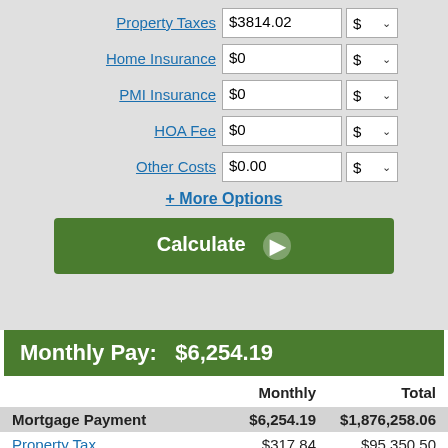Property Taxes | $3814.02 | $ ▾
Home Insurance | $0 | $ ▾
PMI Insurance | $0 | $ ▾
HOA Fee | $0 | $ ▾
Other Costs | $0.00 | $ ▾
+ More Options
Calculate ▶
Monthly Pay: $6,254.19
|  | Monthly | Total |
| --- | --- | --- |
| Mortgage Payment | $6,254.19 | $1,876,258.06 |
| Property Tax | $317.84 | $95,350.50 |
| Total Out-of-Pocket | $6,572.03 | $1,971,608.56 |